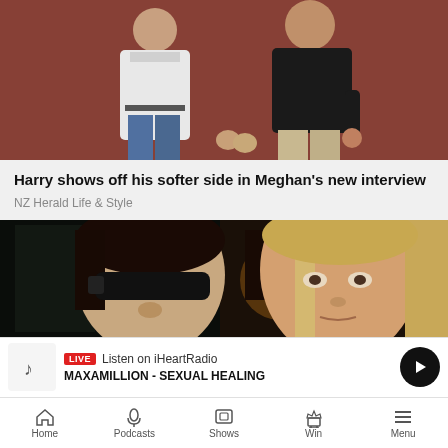[Figure (photo): Photo of a man and woman walking, woman in white coat and jeans, man in black top]
Harry shows off his softer side in Meghan's new interview
NZ Herald Life & Style
[Figure (photo): Photo of two women side by side, one with dark hair and sunglasses, one with blonde hair]
LIVE  Listen on iHeartRadio
MAXAMILLION - SEXUAL HEALING
Home   Podcasts   Shows   Win   Menu